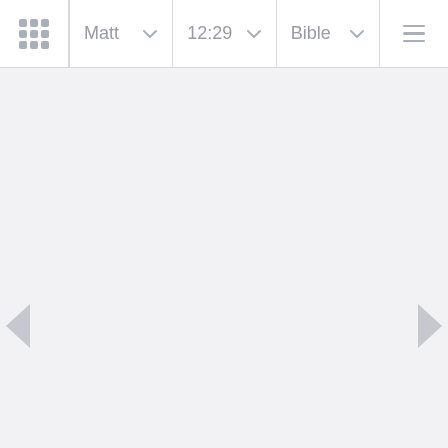Matt 12:29 Bible
[Figure (screenshot): Bible app navigation interface showing top bar with grid icon, book selector (Matt), chapter:verse selector (12:29), Bible version selector, and hamburger menu. Navigation arrows on left, right, and bottom corners of a mostly blank content area.]